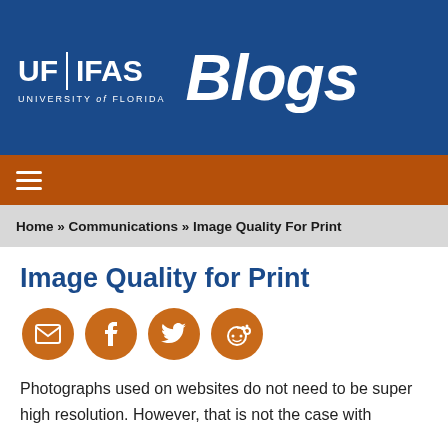UF | IFAS UNIVERSITY of FLORIDA Blogs
≡ (navigation menu)
Home » Communications » Image Quality For Print
Image Quality for Print
[Figure (infographic): Four orange circular social sharing buttons: email, Facebook, Twitter, Reddit]
Photographs used on websites do not need to be super high resolution. However, that is not the case with